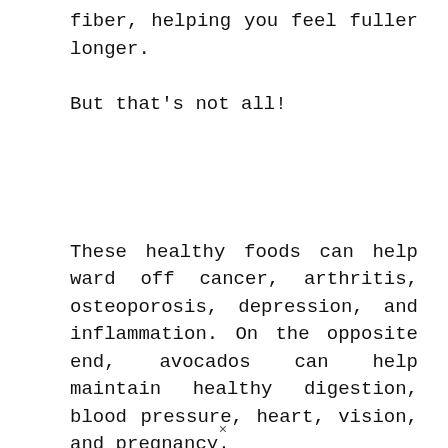fiber, helping you feel fuller longer.
But that's not all!
These healthy foods can help ward off cancer, arthritis, osteoporosis, depression, and inflammation. On the opposite end, avocados can help maintain healthy digestion, blood pressure, heart, vision, and pregnancy.
Now that we know how great avocados are, if
×